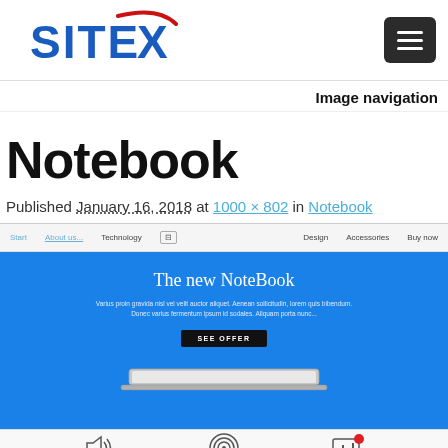[Figure (logo): SITEX logo with blue text and red swoosh, plus hamburger menu button]
Image navigation
Notebook
Published January 16, 2018 at 1000 × 802 in Notebook
[Figure (screenshot): Screenshot of a website showing a blue hero section with 'The new NoteBook' heading, descriptive text, a 'SEE OFFER' button, and a laptop image at the bottom. Navigation bar at top with menu items.]
[Figure (other): Bottom icon bar with speaker/audio icon, fingerprint icon, and notification/chart icon with red dot]